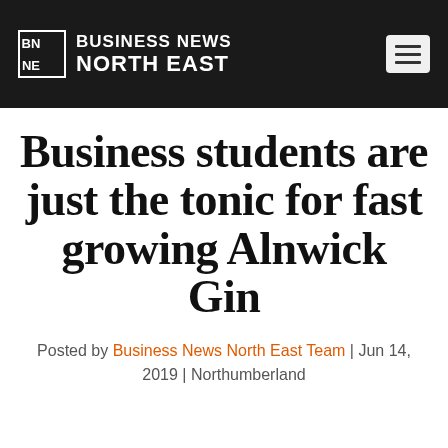BUSINESS NEWS NORTH EAST
Business students are just the tonic for fast growing Alnwick Gin
Posted by Business News North East Team | Jun 14, 2019 | Northumberland